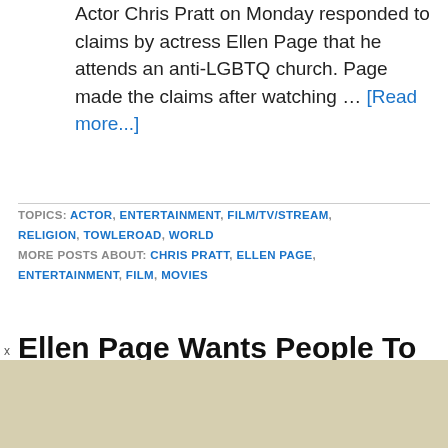Actor Chris Pratt on Monday responded to claims by actress Ellen Page that he attends an anti-LGBTQ church. Page made the claims after watching … [Read more...]
TOPICS: ACTOR, ENTERTAINMENT, FILM/TV/STREAM, RELIGION, TOWLEROAD, WORLD MORE POSTS ABOUT: CHRIS PRATT, ELLEN PAGE, ENTERTAINMENT, FILM, MOVIES
Ellen Page Wants People To Know That Chris Pratt Belongs To An Anti-LGBTQ Church